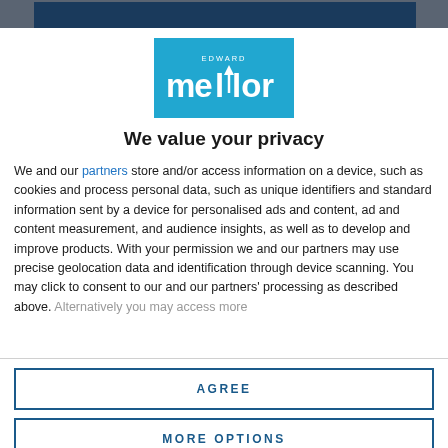[Figure (logo): Edward Mellor logo — white text on blue background with upward arrow between l and o in mellor]
We value your privacy
We and our partners store and/or access information on a device, such as cookies and process personal data, such as unique identifiers and standard information sent by a device for personalised ads and content, ad and content measurement, and audience insights, as well as to develop and improve products. With your permission we and our partners may use precise geolocation data and identification through device scanning. You may click to consent to our and our partners' processing as described above. Alternatively you may access more
AGREE
MORE OPTIONS